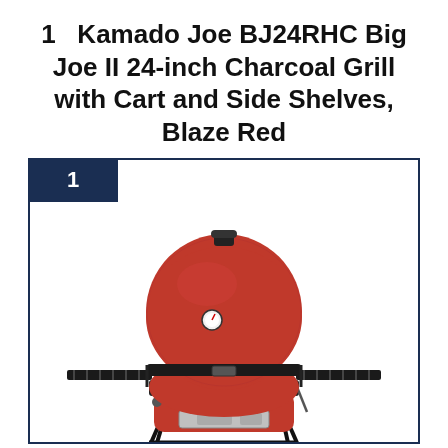1   Kamado Joe BJ24RHC Big Joe II 24-inch Charcoal Grill with Cart and Side Shelves, Blaze Red
[Figure (photo): Product photo of a Kamado Joe BJ24RHC Big Joe II 24-inch Charcoal Grill in Blaze Red, shown with side shelves and cart/stand. A ranking badge showing '1' is overlaid in a dark navy square at the top-left of the image frame.]